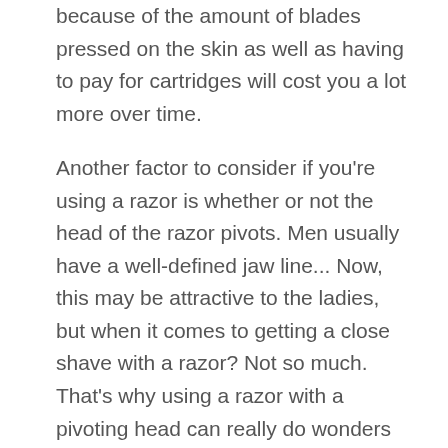because of the amount of blades pressed on the skin as well as having to pay for cartridges will cost you a lot more over time.
Another factor to consider if you're using a razor is whether or not the head of the razor pivots. Men usually have a well-defined jaw line... Now, this may be attractive to the ladies, but when it comes to getting a close shave with a razor? Not so much. That's why using a razor with a pivoting head can really do wonders for getting those sharp angles of your face.
Shaving Creams Or